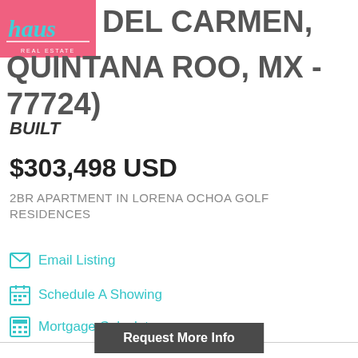[Figure (logo): Haus Real Estate logo — pink background with teal italic 'haus' text and 'REAL ESTATE' subtext]
DEL CARMEN, QUINTANA ROO, MX - 77724)
BUILT
$303,498 USD
2BR APARTMENT IN LORENA OCHOA GOLF RESIDENCES
Email Listing
Schedule A Showing
Mortgage Calculator
Request More Info